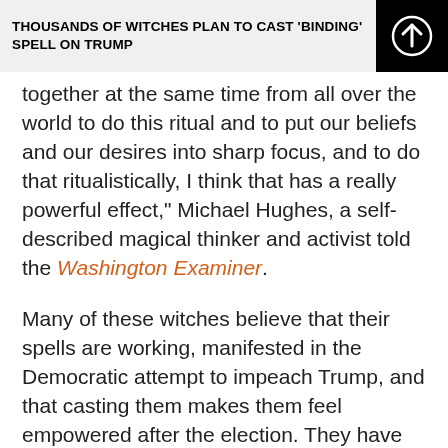THOUSANDS OF WITCHES PLAN TO CAST 'BINDING' SPELL ON TRUMP
together at the same time from all over the world to do this ritual and to put our beliefs and our desires into sharp focus, and to do that ritualistically, I think that has a really powerful effect," Michael Hughes, a self-described magical thinker and activist told the Washington Examiner.
Many of these witches believe that their spells are working, manifested in the Democratic attempt to impeach Trump, and that casting them makes them feel empowered after the election. They have also attempted the same rituals against other powerful leaders, such as Supreme Court Justice Brett Kavanaugh.
But several spiritual authorities warn people from being pulled into the event.